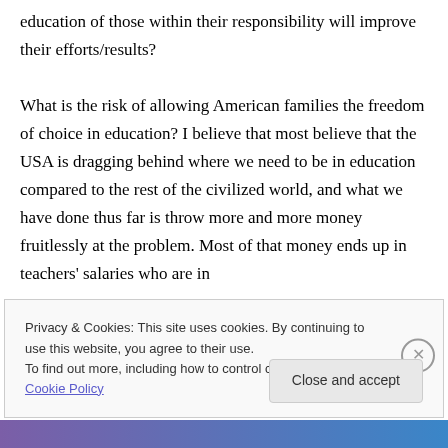education of those within their responsibility will improve their efforts/results?

What is the risk of allowing American families the freedom of choice in education? I believe that most believe that the USA is dragging behind where we need to be in education compared to the rest of the civilized world, and what we have done thus far is throw more and more money fruitlessly at the problem. Most of that money ends up in teachers' salaries who are in
Privacy & Cookies: This site uses cookies. By continuing to use this website, you agree to their use.
To find out more, including how to control cookies, see here: Cookie Policy